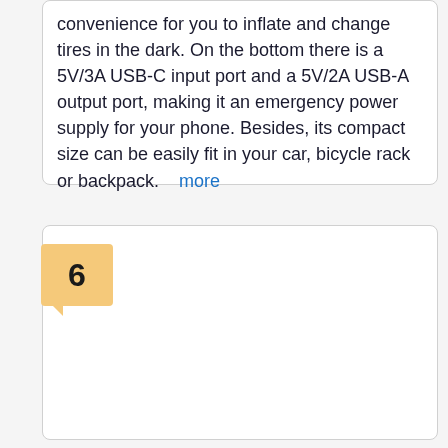convenience for you to inflate and change tires in the dark. On the bottom there is a 5V/3A USB-C input port and a 5V/2A USB-A output port, making it an emergency power supply for your phone. Besides, its compact size can be easily fit in your car, bicycle rack or backpack.    more
6